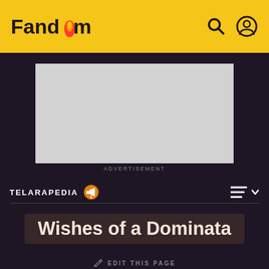Fandom
[Figure (screenshot): Advertisement placeholder box (gray rectangle)]
ADVERTISEMENT
TELARAPEDIA
Wishes of a Dominata
EDIT THIS PAGE